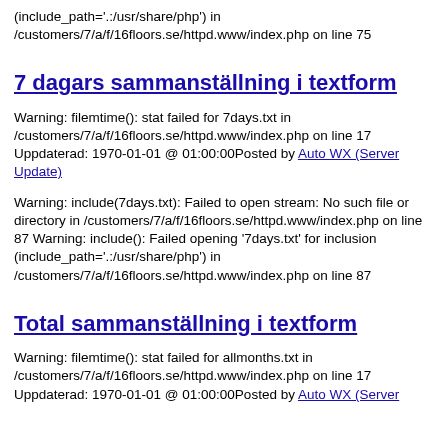(include_path='.:/usr/share/php') in /customers/7/a/f/16floors.se/httpd.www/index.php on line 75
7 dagars sammanställning i textform
Warning: filemtime(): stat failed for 7days.txt in /customers/7/a/f/16floors.se/httpd.www/index.php on line 17 Uppdaterad: 1970-01-01 @ 01:00:00Posted by Auto WX (Server Update)
Warning: include(7days.txt): Failed to open stream: No such file or directory in /customers/7/a/f/16floors.se/httpd.www/index.php on line 87 Warning: include(): Failed opening '7days.txt' for inclusion (include_path='.:/usr/share/php') in /customers/7/a/f/16floors.se/httpd.www/index.php on line 87
Total sammanställning i textform
Warning: filemtime(): stat failed for allmonths.txt in /customers/7/a/f/16floors.se/httpd.www/index.php on line 17 Uppdaterad: 1970-01-01 @ 01:00:00Posted by Auto WX (Server